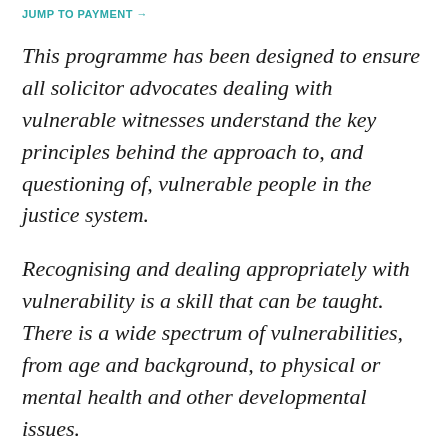JUMP TO PAYMENT →
This programme has been designed to ensure all solicitor advocates dealing with vulnerable witnesses understand the key principles behind the approach to, and questioning of, vulnerable people in the justice system.
Recognising and dealing appropriately with vulnerability is a skill that can be taught. There is a wide spectrum of vulnerabilities, from age and background, to physical or mental health and other developmental issues.